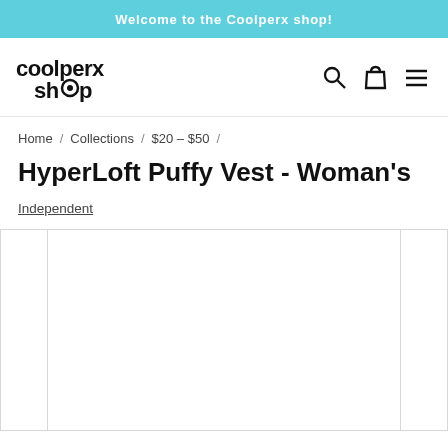Welcome to the Coolperx shop!
[Figure (logo): Coolperx Shop logo in black text]
Home / Collections / $20 – $50 /
HyperLoft Puffy Vest - Woman's
Independent
[Figure (photo): Product image carousel showing white/blank product photo area for HyperLoft Puffy Vest]